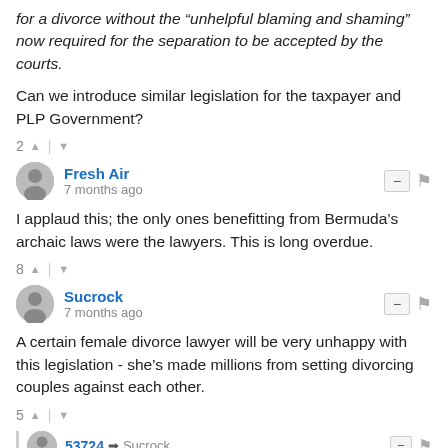for a divorce without the “unhelpful blaming and shaming” now required for the separation to be accepted by the courts.
Can we introduce similar legislation for the taxpayer and PLP Government?
2 ∧ | ∨
Fresh Air
7 months ago
I applaud this; the only ones benefitting from Bermuda’s archaic laws were the lawyers. This is long overdue.
8 ∧ | ∨
Sucrock
7 months ago
A certain female divorce lawyer will be very unhappy with this legislation - she’s made millions from setting divorcing couples against each other.
5 ∧ | ∨
53724 → Sucrock